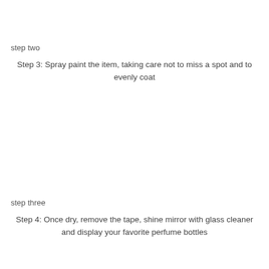step two
Step 3: Spray paint the item, taking care not to miss a spot and to evenly coat
step three
Step 4: Once dry, remove the tape, shine mirror with glass cleaner and display your favorite perfume bottles